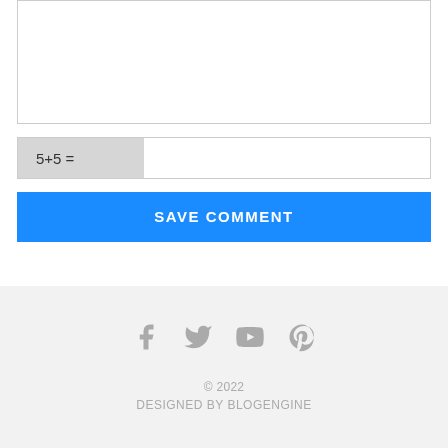[Figure (screenshot): Comment textarea input field, partially visible at the top of the page]
5+5 =
SAVE COMMENT
[Figure (infographic): Social media icons: Facebook, Twitter, YouTube, Pinterest]
© 2022 DESIGNED BY BLOGENGINE